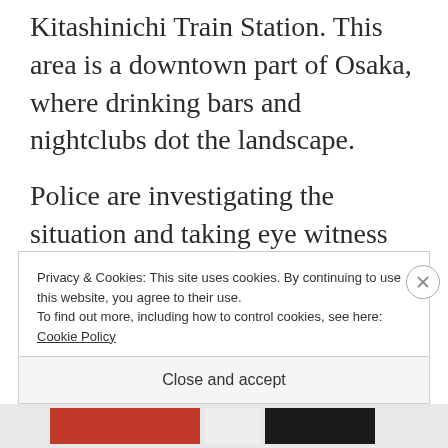Kitashinichi Train Station. This area is a downtown part of Osaka, where drinking bars and nightclubs dot the landscape.
Police are investigating the situation and taking eye witness statements.
Firefighters stated that no signs of life could be seen in 17 men and 10 women.
Privacy & Cookies: This site uses cookies. By continuing to use this website, you agree to their use.
To find out more, including how to control cookies, see here: Cookie Policy
Close and accept